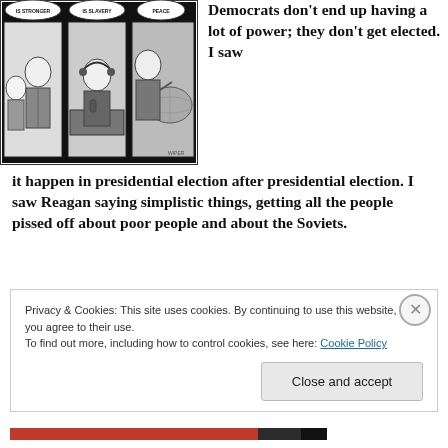[Figure (illustration): A black and white political cartoon strip showing three panels with caricatures of politicians/news anchors with speech bubbles reading 'IS STRONGER', 'IS SLAVERY', 'PEACE']
Democrats don't end up having a lot of power; they don't get elected. I saw it happen in presidential election after presidential election. I saw Reagan saying simplistic things, getting all the people pissed off about poor people and about the Soviets.
Privacy & Cookies: This site uses cookies. By continuing to use this website, you agree to their use.
To find out more, including how to control cookies, see here: Cookie Policy
Close and accept